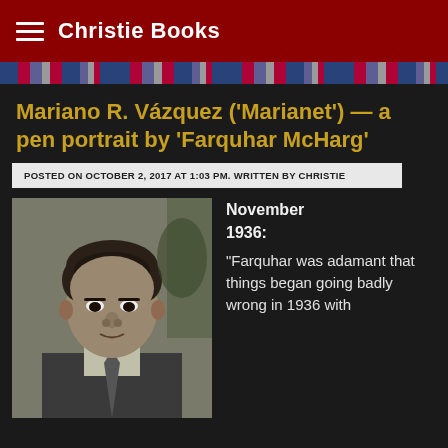Christie Books
Mariano R. Vázquez ('Marianet') — a pen portrait by 'Farquhar McHarg'
POSTED ON OCTOBER 2, 2017 AT 1:03 PM. WRITTEN BY CHRISTIE
[Figure (photo): Black and white photograph of a young man in a suit, facing slightly to the right]
November 1936: "Farquhar was adamant that things began going badly wrong in 1936 with